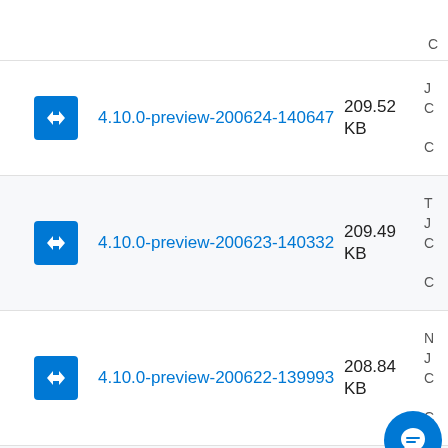4.10.0-preview-200624-140647, 209.52 KB
4.10.0-preview-200623-140332, 209.49 KB
4.10.0-preview-200622-139993, 208.84 KB
4.10.0-preview-200621-139841, 208.79